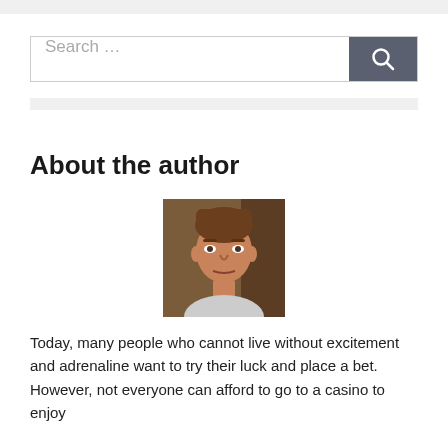[Figure (screenshot): Search bar with text input field showing 'Search ...' placeholder and a dark grey search button with magnifying glass icon]
About the author
[Figure (photo): Headshot photo of a middle-aged man with short brown hair, looking directly at camera, against a warm brown background]
Today, many people who cannot live without excitement and adrenaline want to try their luck and place a bet. However, not everyone can afford to go to a casino to enjoy